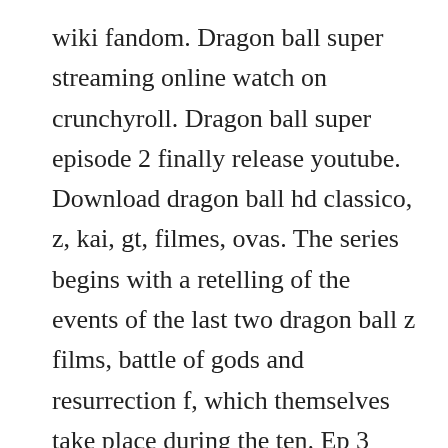wiki fandom. Dragon ball super streaming online watch on crunchyroll. Dragon ball super episode 2 finally release youtube. Download dragon ball hd classico, z, kai, gt, filmes, ovas. The series begins with a retelling of the events of the last two dragon ball z films, battle of gods and resurrection f, which themselves take place during the ten. Ep 3 where does the dream pick up find the super saiyan god. For the individual series episode guides, use the dragon ball, dragon ball z, dragon ball gt, dragon ball super, and super